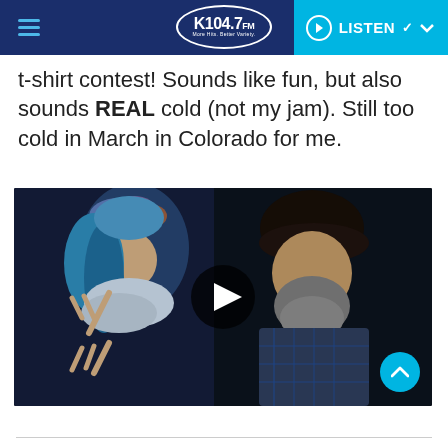K104.7 FM — LISTEN
t-shirt contest! Sounds like fun, but also sounds REAL cold (not my jam). Still too cold in March in Colorado for me.
[Figure (photo): Video player showing two costumed people making peace signs at what appears to be a festival or party event. A play button overlay is visible in the center.]